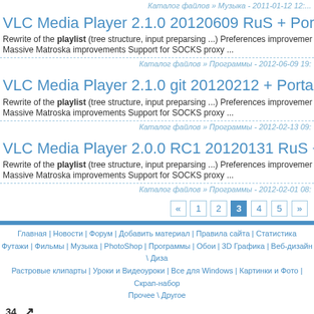Каталог файлов » Музыка - 2011-01-12 12:...
VLC Media Player 2.1.0 20120609 RuS + Portable
Rewrite of the playlist (tree structure, input preparsing ...) Preferences improvements Massive Matroska improvements Support for SOCKS proxy ...
Каталог файлов » Программы - 2012-06-09 19:...
VLC Media Player 2.1.0 git 20120212 + Portable(ML/RU...
Rewrite of the playlist (tree structure, input preparsing ...) Preferences improvements Massive Matroska improvements Support for SOCKS proxy ...
Каталог файлов » Программы - 2012-02-13 09:...
VLC Media Player 2.0.0 RC1 20120131 RuS + Portable
Rewrite of the playlist (tree structure, input preparsing ...) Preferences improvements Massive Matroska improvements Support for SOCKS proxy ...
Каталог файлов » Программы - 2012-02-01 08:...
« 1 2 3 4 5 »
Главная | Новости | Форум | Добавить материал | Правила сайта | Статистика Футажи | Фильмы | Музыка | PhotoShop | Программы | Обои | 3D Графика | Веб-дизайн \ Диза Растровые клипарты | Уроки и Видеоуроки | Все для Windows | Картинки и Фото | Скрап-набор Прочее \ Другое
34 ↗